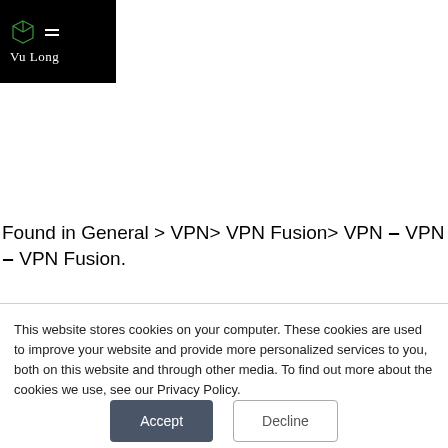[Figure (logo): Vu Long logo: black background with green wireframe cube icon and white hamburger menu icon, white serif text 'Vu Long' below]
Found in General > VPN> VPN Fusion> VPN – VPN – VPN Fusion.
This website stores cookies on your computer. These cookies are used to improve your website and provide more personalized services to you, both on this website and through other media. To find out more about the cookies we use, see our Privacy Policy.
Accept
Decline